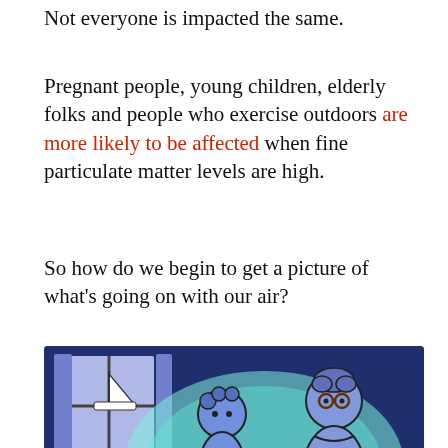Not everyone is impacted the same.
Pregnant people, young children, elderly folks and people who exercise outdoors are more likely to be affected when fine particulate matter levels are high.
So how do we begin to get a picture of what’s going on with our air?
[Figure (illustration): Illustration of an adult figure (elderly person with glasses) and a child figure on a dark blue background with a cyan/teal aura bubble around them, and a window with a sailboat visible in the upper left. The figures are drawn in a simple cartoon style in shades of blue and light blue/cyan.]